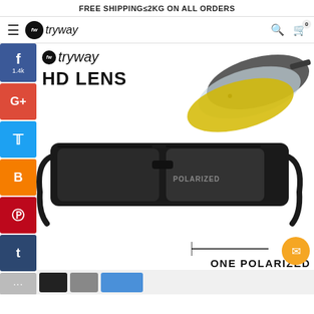FREE SHIPPING≤2KG ON ALL ORDERS
[Figure (screenshot): Tryway e-commerce website header with hamburger menu, Tryway logo, search icon, and cart icon showing 0 items]
[Figure (photo): Product listing page showing tactical/military sunglasses with HD lens branding, multiple interchangeable lenses (yellow, clear, dark), and social media sharing sidebar (Facebook 1.4k, Google+, Twitter, Blogger, Pinterest, Tumblr). Text overlays: 'tryway', 'HD LENS', 'ONE POLARIZED'. Email contact button in orange circle at bottom right.]